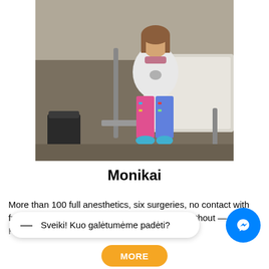[Figure (photo): A young girl sitting on a hospital bed, wearing a white hoodie with a cat graphic, colorful patterned pants and blue sneakers. A hospital bed rail and white sheets are visible beside her.]
Monikai
More than 100 full anesthetics, six surgeries, no contact with friends and the only wish for the day to pass without — pain. However this article does not yet mention
Sveiki! Kuo galėtumėme padėti?
MORE